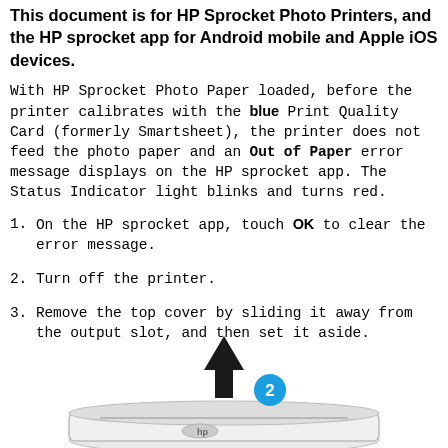This document is for HP Sprocket Photo Printers, and the HP sprocket app for Android mobile and Apple iOS devices.
With HP Sprocket Photo Paper loaded, before the printer calibrates with the blue Print Quality Card (formerly Smartsheet), the printer does not feed the photo paper and an Out of Paper error message displays on the HP sprocket app. The Status Indicator light blinks and turns red.
On the HP sprocket app, touch OK to clear the error message.
Turn off the printer.
Remove the top cover by sliding it away from the output slot, and then set it aside.
[Figure (illustration): Illustration of HP Sprocket printer with an upward arrow indicating removing the top cover, with a circled number 2 badge.]